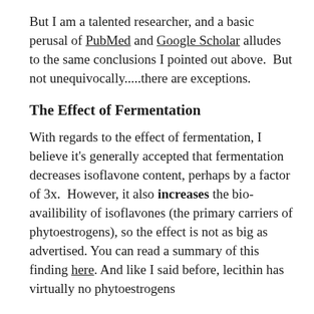But I am a talented researcher, and a basic perusal of PubMed and Google Scholar alludes to the same conclusions I pointed out above. But not unequivocally.....there are exceptions.
The Effect of Fermentation
With regards to the effect of fermentation, I believe it's generally accepted that fermentation decreases isoflavone content, perhaps by a factor of 3x. However, it also increases the bio-availibility of isoflavones (the primary carriers of phytoestrogens), so the effect is not as big as advertised. You can read a summary of this finding here. And like I said before, lecithin has virtually no phytoestrogens